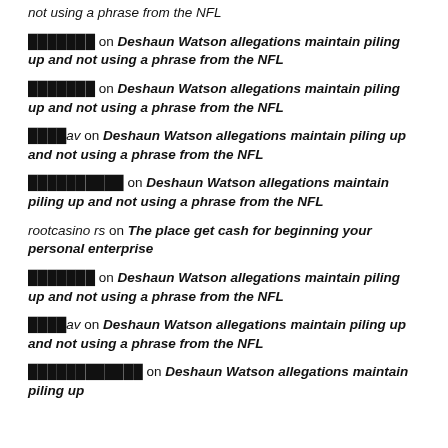not using a phrase from the NFL
███████ on Deshaun Watson allegations maintain piling up and not using a phrase from the NFL
███████ on Deshaun Watson allegations maintain piling up and not using a phrase from the NFL
████av on Deshaun Watson allegations maintain piling up and not using a phrase from the NFL
██████████ on Deshaun Watson allegations maintain piling up and not using a phrase from the NFL
rootcasino rs on The place get cash for beginning your personal enterprise
███████ on Deshaun Watson allegations maintain piling up and not using a phrase from the NFL
████av on Deshaun Watson allegations maintain piling up and not using a phrase from the NFL
████████████ on Deshaun Watson allegations maintain piling up